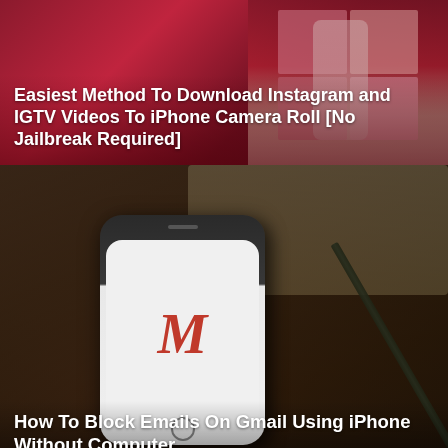[Figure (screenshot): Article thumbnail showing Instagram grid and phone on a dark red background with white text overlay]
Easiest Method To Download Instagram and IGTV Videos To iPhone Camera Roll [No Jailbreak Required]
[Figure (photo): Photo of a smartphone showing the Gmail M logo on a white screen, resting on a wooden desk next to a spiral notebook and pencil]
How To Block Emails On Gmail Using iPhone Without Computer
[Figure (screenshot): Partial article thumbnail showing black left half and orange right half with an iPhone mockup]